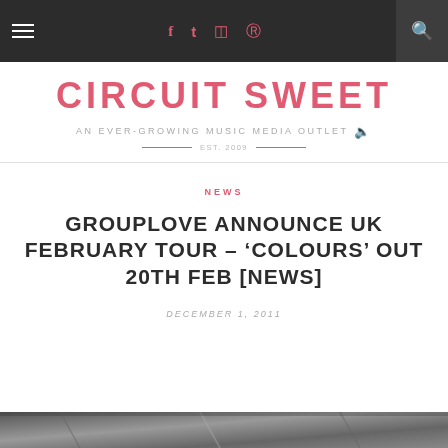Navigation bar with hamburger menu, social icons (f, t, instagram, pinterest), and search icon
CIRCUIT SWEET
AN EVER-GROWING MUSIC MEDIA OUTLET 🔊
EST. 2009
NEWS
GROUPLOVE ANNOUNCE UK FEBRUARY TOUR – 'COLOURS' OUT 20TH FEB [NEWS]
DECEMBER 1, 2011
[Figure (photo): Partial grayscale photo visible at bottom of page]